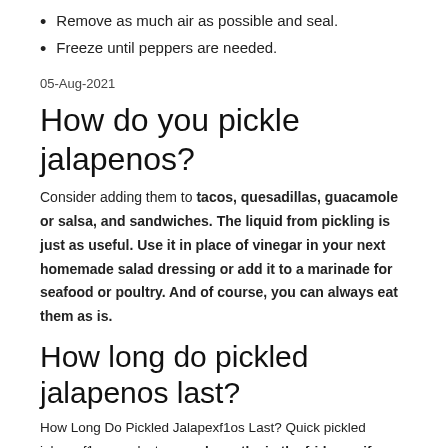Remove as much air as possible and seal.
Freeze until peppers are needed.
05-Aug-2021
How do you pickle jalapenos?
Consider adding them to tacos, quesadillas, guacamole or salsa, and sandwiches. The liquid from pickling is just as useful. Use it in place of vinegar in your next homemade salad dressing or add it to a marinade for seafood or poultry. And of course, you can always eat them as is.
How long do pickled jalapenos last?
How Long Do Pickled Jalapexf1os Last? Quick pickled jalapexf1os can last several months in the fridge or if properly canned, up to one year at room temperature. An open jar of canned or